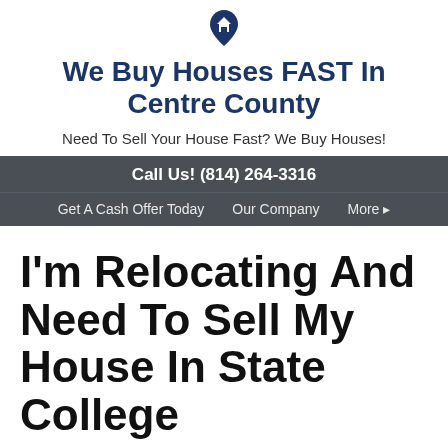[Figure (logo): House/location pin icon in dark navy blue]
We Buy Houses FAST In Centre County
Need To Sell Your House Fast? We Buy Houses!
Call Us! (814) 264-3316
Get A Cash Offer Today   Our Company   More ▸
I'm Relocating And Need To Sell My House In State College
January 23, 2018